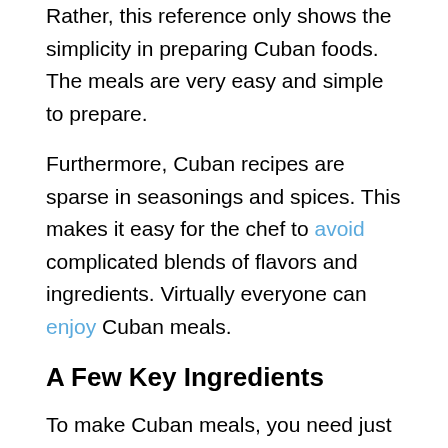Rather, this reference only shows the simplicity in preparing Cuban foods. The meals are very easy and simple to prepare.
Furthermore, Cuban recipes are sparse in seasonings and spices. This makes it easy for the chef to avoid complicated blends of flavors and ingredients. Virtually everyone can enjoy Cuban meals.
A Few Key Ingredients
To make Cuban meals, you need just a few key ingredients. For instance, if you are making bean soup; you will need stews and casseroles. Bean soup is a hallmark in almost every Cuban kitchen. Pork and chicken are their major protein sources. Others include...